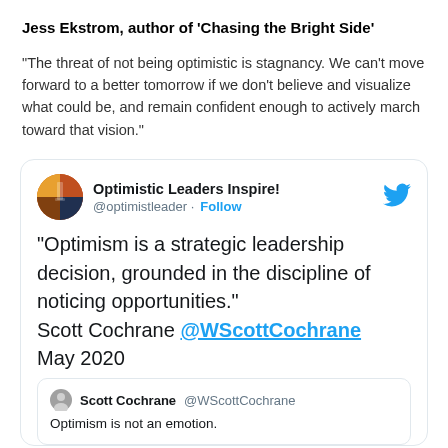Jess Ekstrom, author of 'Chasing the Bright Side'
"The threat of not being optimistic is stagnancy. We can't move forward to a better tomorrow if we don't believe and visualize what could be, and remain confident enough to actively march toward that vision."
[Figure (screenshot): Tweet from @optimistleader (Optimistic Leaders Inspire!) quoting Scott Cochrane @WScottCochrane: 'Optimism is a strategic leadership decision, grounded in the discipline of noticing opportunities.' May 2020. With a nested retweet card showing Scott Cochrane @WScottCochrane: 'Optimism is not an emotion.']